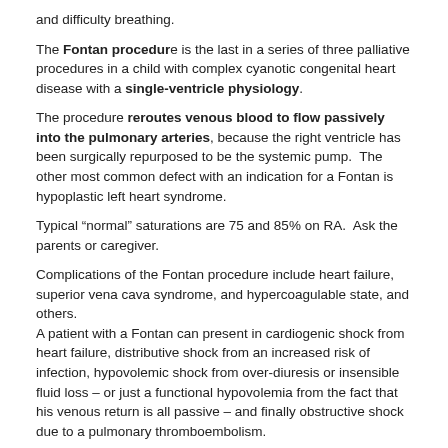and difficulty breathing.
The Fontan procedure is the last in a series of three palliative procedures in a child with complex cyanotic congenital heart disease with a single-ventricle physiology.
The procedure reroutes venous blood to flow passively into the pulmonary arteries, because the right ventricle has been surgically repurposed to be the systemic pump.  The other most common defect with an indication for a Fontan is hypoplastic left heart syndrome.
Typical “normal” saturations are 75 and 85% on RA.  Ask the parents or caregiver.
Complications of the Fontan procedure include heart failure, superior vena cava syndrome, and hypercoagulable state, and others.
A patient with a Fontan can present in cardiogenic shock from heart failure, distributive shock from an increased risk of infection, hypovolemic shock from over-diuresis or insensible fluid loss – or just a functional hypovolemia from the fact that his venous return is all passive – and finally obstructive shock due to a pulmonary thromboembolism.
Types of shock mnemonic: this is how people COHDe – Cardiogenic, Obstructive, Hypovolemic, Distributive.
Do we give fluids?